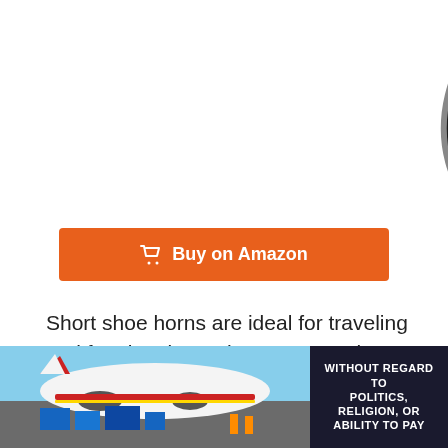[Figure (photo): Partial view of a black oval-shaped product (Zomake branded) seen from above, showing the logo on a dark surface with a metallic rim, cut off at the top of the page.]
Buy on Amazon
Short shoe horns are ideal for traveling and for situations where you need to lace up your shoes. The reason why Zomake is on the top of my list for short metal shoe horns is because of its color. Usually metal shoe horns come in that shiny stainless steel look and, for me at least, they evoke the memory of flimsy, shoe shop style shoe horns. So the fact that this is painted black
[Figure (photo): Advertisement banner showing a cargo airplane being loaded, with text 'WITHOUT REGARD TO POLITICS, RELIGION, OR ABILITY TO PAY' on the right side over a dark background.]